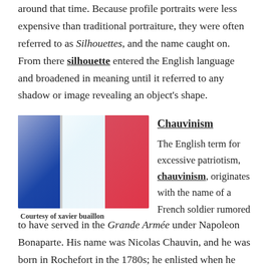around that time. Because profile portraits were less expensive than traditional portraiture, they were often referred to as Silhouettes, and the name caught on. From there silhouette entered the English language and broadened in meaning until it referred to any shadow or image revealing an object's shape.
[Figure (photo): A French tricolor flag waving against a blue sky on a flagpole.]
Courtesy of xavier buaillon
Chauvinism
The English term for excessive patriotism, chauvinism, originates with the name of a French soldier rumored to have served in the Grande Armée under Napoleon Bonaparte. His name was Nicolas Chauvin, and he was born in Rochefort in the 1780s; he enlisted when he was